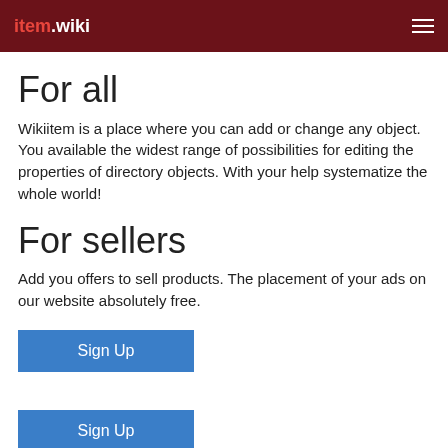item.wiki
For all
Wikiitem is a place where you can add or change any object. You available the widest range of possibilities for editing the properties of directory objects. With your help systematize the whole world!
For sellers
Add you offers to sell products. The placement of your ads on our website absolutely free.
Sign Up
Sign Up